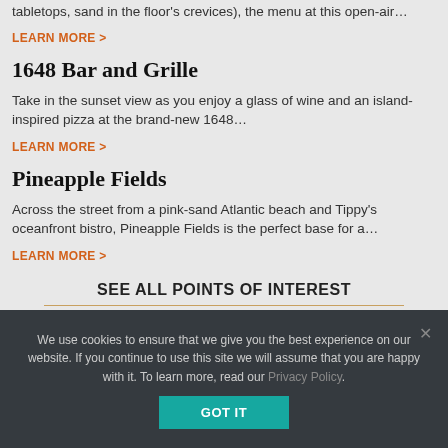tabletops, sand in the floor's crevices), the menu at this open-air…
LEARN MORE >
1648 Bar and Grille
Take in the sunset view as you enjoy a glass of wine and an island-inspired pizza at the brand-new 1648…
LEARN MORE >
Pineapple Fields
Across the street from a pink-sand Atlantic beach and Tippy's oceanfront bistro, Pineapple Fields is the perfect base for a…
LEARN MORE >
SEE ALL POINTS OF INTEREST
We use cookies to ensure that we give you the best experience on our website. If you continue to use this site we will assume that you are happy with it. To learn more, read our Privacy Policy.
GOT IT